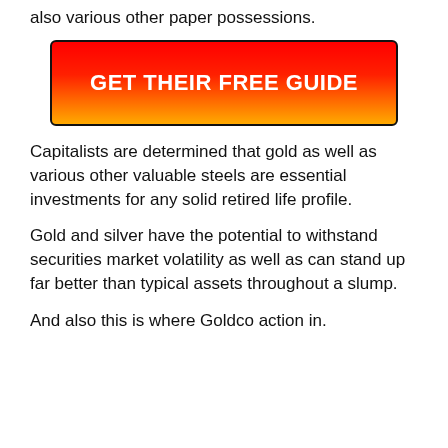also various other paper possessions.
[Figure (other): Red-to-gold gradient button with text GET THEIR FREE GUIDE]
Capitalists are determined that gold as well as various other valuable steels are essential investments for any solid retired life profile.
Gold and silver have the potential to withstand securities market volatility as well as can stand up far better than typical assets throughout a slump.
And also this is where Goldco action in.